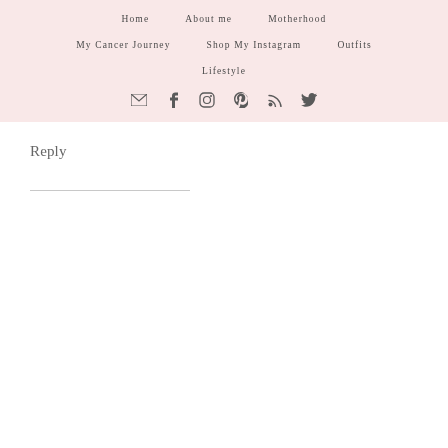Home | About me | Motherhood | My Cancer Journey | Shop My Instagram | Outfits | Lifestyle
[Figure (infographic): Social media icon row: email, facebook, instagram, pinterest, rss, twitter]
Reply